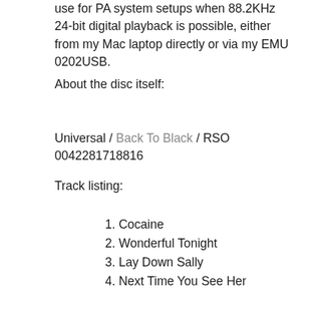use for PA system setups when 88.2KHz 24-bit digital playback is possible, either from my Mac laptop directly or via my EMU 0202USB.
About the disc itself:
Universal / Back To Black / RSO 0042281718816
Track listing:
1. Cocaine
2. Wonderful Tonight
3. Lay Down Sally
4. Next Time You See Her
5. We're All the Way
6. The Core
7. May You Never
8. Mean Old Frisco
9. Peaches and Diesel